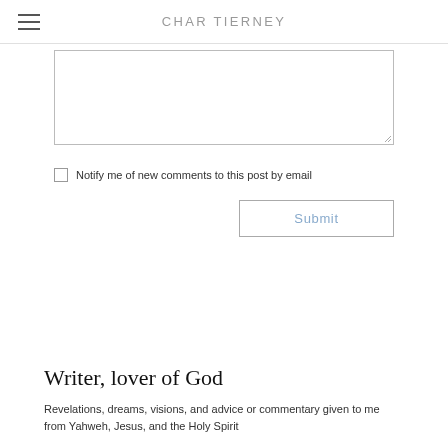CHAR TIERNEY
[Figure (other): Text area input box (comment form textarea)]
Notify me of new comments to this post by email
Submit
Writer, lover of God
Revelations, dreams, visions, and advice or commentary given to me from Yahweh, Jesus, and the Holy Spirit